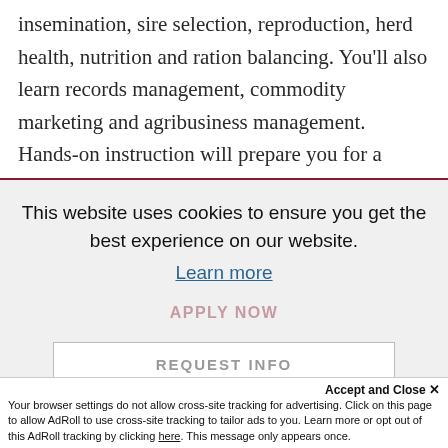insemination, sire selection, reproduction, herd health, nutrition and ration balancing. You'll also learn records management, commodity marketing and agribusiness management. Hands-on instruction will prepare you for a career in dairy production.
This website uses cookies to ensure you get the best experience on our website.
Learn more
APPLY NOW
REQUEST INFO
Got it!
Accept and Close ✕
Your browser settings do not allow cross-site tracking for advertising. Click on this page to allow AdRoll to use cross-site tracking to tailor ads to you. Learn more or opt out of this AdRoll tracking by clicking here. This message only appears once.